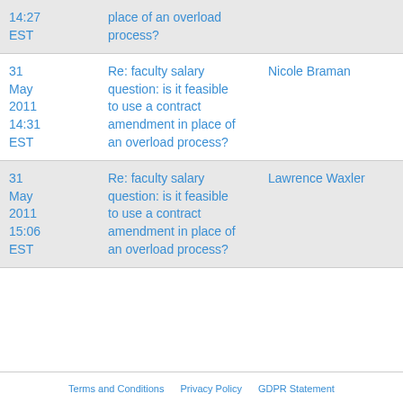| Date | Subject | Author |
| --- | --- | --- |
| 14:27 EST | place of an overload process? |  |
| 31 May 2011 14:31 EST | Re: faculty salary question: is it feasible to use a contract amendment in place of an overload process? | Nicole Braman |
| 31 May 2011 15:06 EST | Re: faculty salary question: is it feasible to use a contract amendment in place of an overload process? | Lawrence Waxler |
Terms and Conditions   Privacy Policy   GDPR Statement